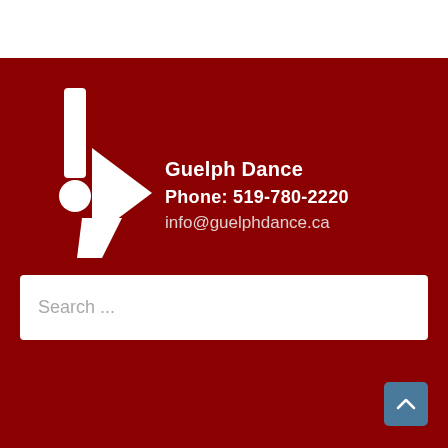[Figure (logo): Guelph Dance logo: white exclamation mark and arrow-like shapes on dark red background]
Guelph Dance
Phone: 519-780-2220
info@guelphdance.ca
Search ...
[Figure (other): Scroll-to-top button with upward chevron arrow on blue-grey background]